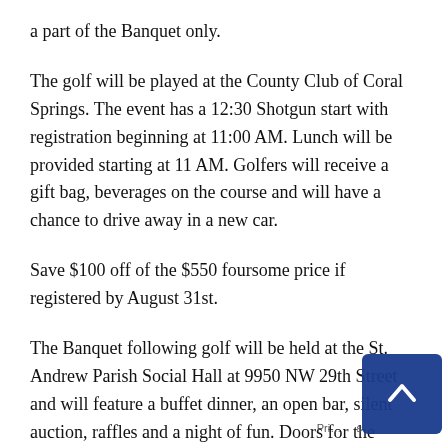a part of the Banquet only.
The golf will be played at the County Club of Coral Springs. The event has a 12:30 Shotgun start with registration beginning at 11:00 AM. Lunch will be provided starting at 11 AM. Golfers will receive a gift bag, beverages on the course and will have a chance to drive away in a new car.
Save $100 off of the $550 foursome price if registered by August 31st.
The Banquet following golf will be held at the St. Andrew Parish Social Hall at 9950 NW 29th Street and will feature a buffet dinner, an open bar, silent auction, raffles and a night of fun. Doors for the banquet will open at 5 PM. You